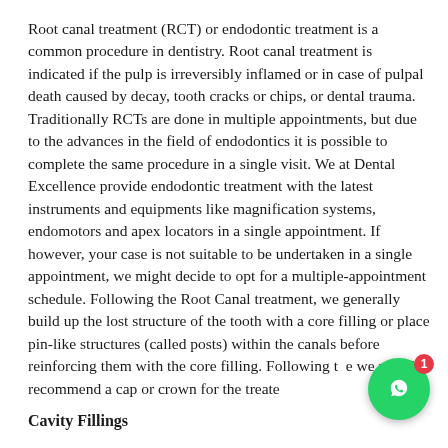Root canal treatment (RCT) or endodontic treatment is a common procedure in dentistry. Root canal treatment is indicated if the pulp is irreversibly inflamed or in case of pulpal death caused by decay, tooth cracks or chips, or dental trauma. Traditionally RCTs are done in multiple appointments, but due to the advances in the field of endodontics it is possible to complete the same procedure in a single visit. We at Dental Excellence provide endodontic treatment with the latest instruments and equipments like magnification systems, endomotors and apex locators in a single appointment. If however, your case is not suitable to be undertaken in a single appointment, we might decide to opt for a multiple-appointment schedule. Following the Root Canal treatment, we generally build up the lost structure of the tooth with a core filling or place pin-like structures (called posts) within the canals before reinforcing them with the core filling. Following the we usually recommend a cap or crown for the treate
[Figure (other): WhatsApp chat button with green circle icon and red notification badge showing 1]
Cavity Fillings